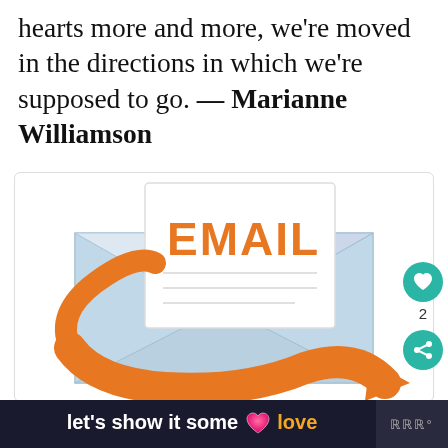hearts more and more, we're moved in the directions in which we're supposed to go. — Marianne Williamson
[Figure (illustration): Email icon: an open white envelope with an orange arrow/ribbon wrapped around it, and a white card with 'EMAIL' written in bold orange letters sticking out of the top.]
[Figure (other): Like button (teal circle with heart icon) and count '2', plus share button (teal circle with share icon), on the right side of the image.]
let's show it some love